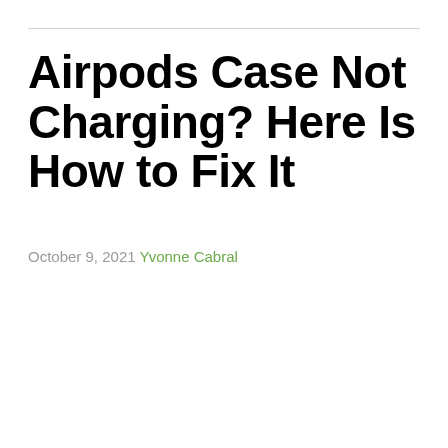Airpods Case Not Charging? Here Is How to Fix It
October 9, 2021 Yvonne Cabral